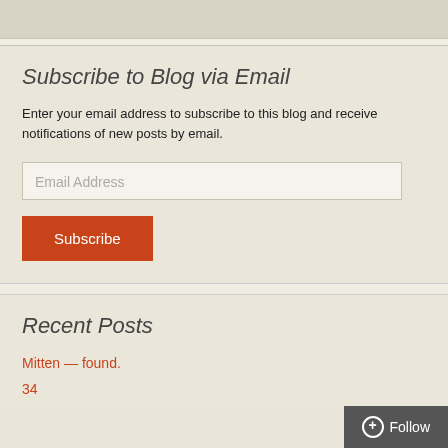Subscribe to Blog via Email
Enter your email address to subscribe to this blog and receive notifications of new posts by email.
Email Address
Subscribe
Recent Posts
Mitten — found.
34
Follow